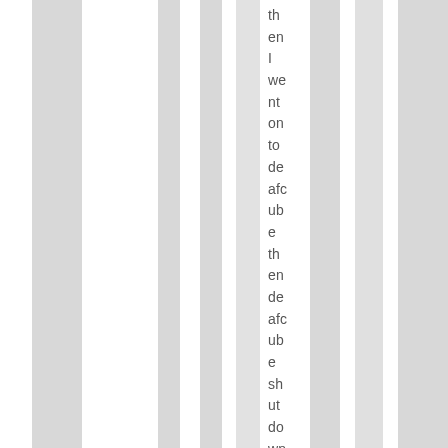then I went on to de afc ub e th en de afc ub e sh ut do wn